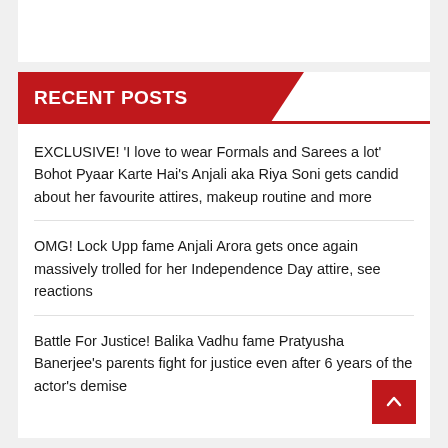RECENT POSTS
EXCLUSIVE! 'I love to wear Formals and Sarees a lot' Bohot Pyaar Karte Hai's Anjali aka Riya Soni gets candid about her favourite attires, makeup routine and more
OMG! Lock Upp fame Anjali Arora gets once again massively trolled for her Independence Day attire, see reactions
Battle For Justice! Balika Vadhu fame Pratyusha Banerjee's parents fight for justice even after 6 years of the actor's demise